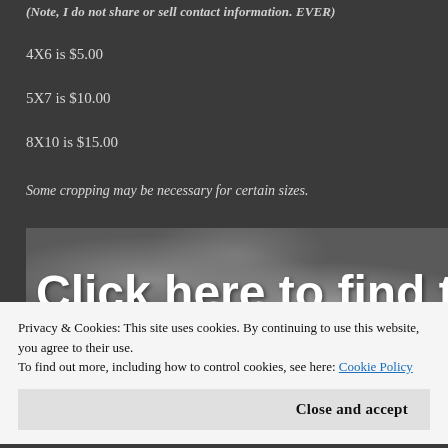(Note, I do not share or sell contact information. EVER)
4X6 is $5.00
5X7 is $10.00
8X10 is $15.00
Some cropping may be necessary for certain sizes.
[Figure (photo): Partially visible background photo with bold white text overlay reading 'Click here to find the']
Privacy & Cookies: This site uses cookies. By continuing to use this website, you agree to their use.
To find out more, including how to control cookies, see here: Cookie Policy
Close and accept